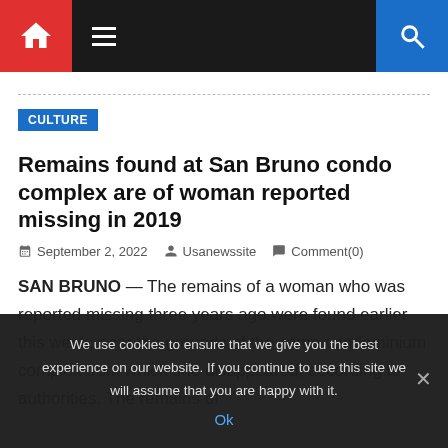Navigation bar with home, hamburger menu, and search icons
CULTURE
Remains found at San Bruno condo complex are of woman reported missing in 2019
September 2, 2022  Usanewssite  Comment(0)
SAN BRUNO — The remains of a woman who was reported missing three years ago were found earlier this week, near the grounds of the same condominium complex from which she disappeared, according to authorities. The remains of
We use cookies to ensure that we give you the best experience on our website. If you continue to use this site we will assume that you are happy with it. Ok